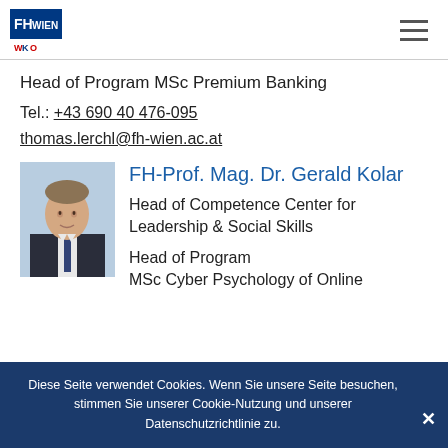FH Wien WKO logo and navigation
Head of Program MSc Premium Banking
Tel.: +43 690 40 476-095
thomas.lerchl@fh-wien.ac.at
[Figure (photo): Professional headshot of FH-Prof. Mag. Dr. Gerald Kolar, a man in a dark suit with a tie, light background]
FH-Prof. Mag. Dr. Gerald Kolar
Head of Competence Center for Leadership & Social Skills
Head of Program MSc Cyber Psychology of Online
Diese Seite verwendet Cookies. Wenn Sie unsere Seite besuchen, stimmen Sie unserer Cookie-Nutzung und unserer Datenschutzrichtlinie zu.